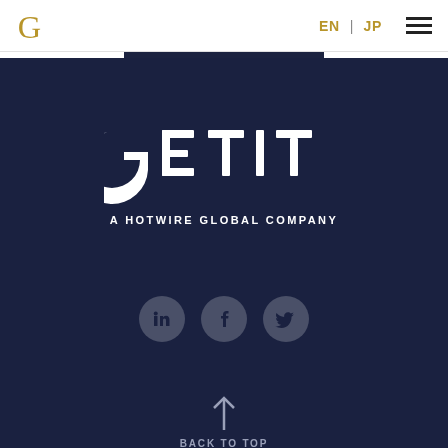G  EN | JP ≡
[Figure (logo): GETIT - A HOTWIRE GLOBAL COMPANY logo in white on dark navy background]
[Figure (infographic): Three social media icon circles: LinkedIn, Facebook, Twitter on dark navy background]
BACK TO TOP